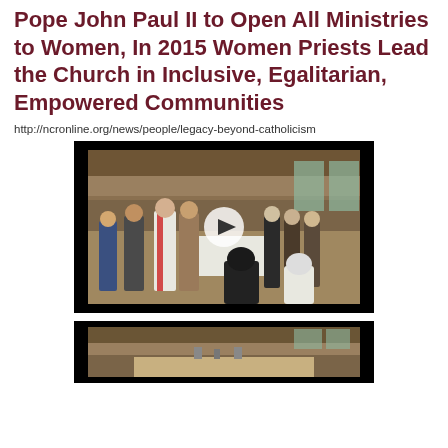Pope John Paul II to Open All Ministries to Women, In 2015 Women Priests Lead the Church in Inclusive, Egalitarian, Empowered Communities
http://ncronline.org/news/people/legacy-beyond-catholicism
[Figure (photo): Video thumbnail of a church interior scene showing people gathered around an altar, with a play button overlay indicating a video.]
[Figure (photo): Second video thumbnail showing the interior of a church building, partially visible at the bottom of the page.]